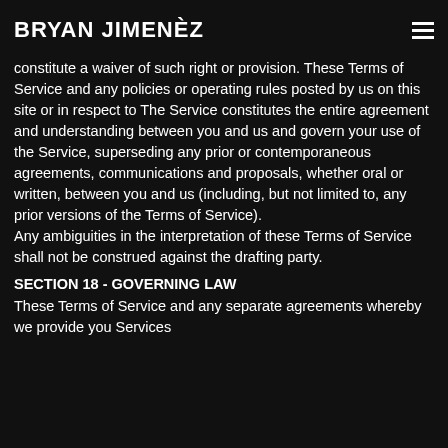BRYAN JIMENÈZ
constitute a waiver of such right or provision. These Terms of Service and any policies or operating rules posted by us on this site or in respect to The Service constitutes the entire agreement and understanding between you and us and govern your use of the Service, superseding any prior or contemporaneous agreements, communications and proposals, whether oral or written, between you and us (including, but not limited to, any prior versions of the Terms of Service).
Any ambiguities in the interpretation of these Terms of Service shall not be construed against the drafting party.
SECTION 18 - GOVERNING LAW
These Terms of Service and any separate agreements whereby we provide you Services